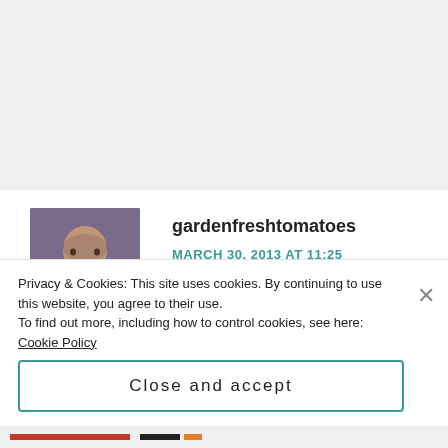[Figure (photo): Avatar/profile photo of a woman with dark hair]
gardenfreshtomatoes
MARCH 30, 2013 AT 11:25
Oh, wow, Tanya! A lighter take on the cream-cheese filled sweet rolls we see around here at Easter... Sounds incredible.
I find that I want sweets less and less. too...But with
Privacy & Cookies: This site uses cookies. By continuing to use this website, you agree to their use.
To find out more, including how to control cookies, see here: Cookie Policy
Close and accept